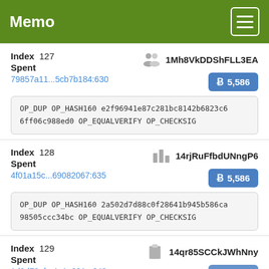Memo
Index 127
Spent
79857a11...5cb7b184:630
1Mh8VkDDShFLL3EA
B 5,586
OP_DUP OP_HASH160 e2f96941e87c281bc8142b6823c66ff06c988ed0 OP_EQUALVERIFY OP_CHECKSIG
Index 128
Spent
4f01a15c...69082067:635
14rjRuFfbdUNngP6
B 5,586
OP_DUP OP_HASH160 2a502d7d88c0f28641b945b586ca98505ccc34bc OP_EQUALVERIFY OP_CHECKSIG
Index 129
Spent
1d9d79af...4a1a991a:648
14qr85SCCkJWhNny
B 5,500